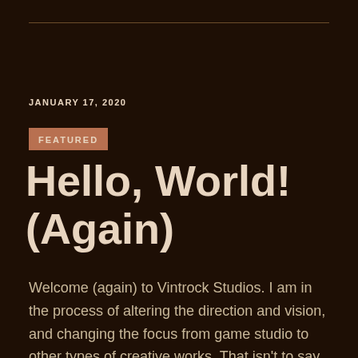JANUARY 17, 2020
FEATURED
Hello, World! (Again)
Welcome (again) to Vintrock Studios. I am in the process of altering the direction and vision, and changing the focus from game studio to other types of creative works. That isn't to say that